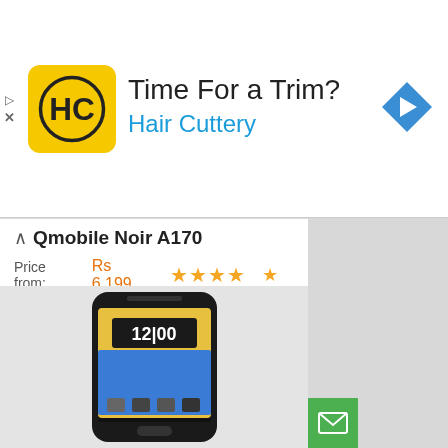[Figure (screenshot): Advertisement banner for Hair Cuttery with logo, title 'Time For a Trim?', subtitle 'Hair Cuttery', and navigation arrow icon on the right]
Qmobile Noir A170
Price from: Rs 6,199
Notify Price Drops
Add to Compare
COMPARE Prices from 4 Retailers
[Figure (photo): QMobile Noir A170 smartphone showing home screen with clock displaying 12:00]